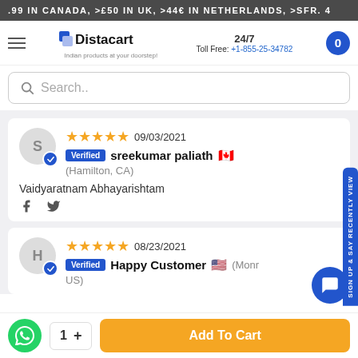.99 IN CANADA, >£50 IN UK, >44€ IN NETHERLANDS, >SFR. 4
Distacart — Indian products at your doorstep! 24/7 Toll Free: +1-855-25-34782
Search..
★★★★★ 09/03/2021 Verified sreekumar paliath 🇨🇦 (Hamilton, CA) — Vaidyaratnam Abhayarishtam
★★★★★ 08/23/2021 Verified Happy Customer 🇺🇸 (Monr... US)
Add To Cart